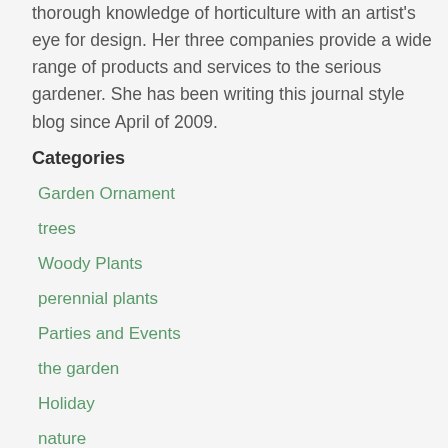thorough knowledge of horticulture with an artist's eye for design. Her three companies provide a wide range of products and services to the serious gardener. She has been writing this journal style blog since April of 2009.
Categories
Garden Ornament
trees
Woody Plants
perennial plants
Parties and Events
the garden
Holiday
nature
The Durant Studio